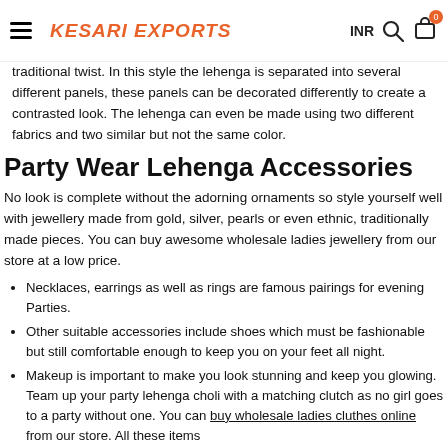KESARI EXPORTS | INR | Search | Cart (0)
traditional twist. In this style the lehenga is separated into several different panels, these panels can be decorated differently to create a contrasted look. The lehenga can even be made using two different fabrics and two similar but not the same color.
Party Wear Lehenga Accessories
No look is complete without the adorning ornaments so style yourself well with jewellery made from gold, silver, pearls or even ethnic, traditionally made pieces. You can buy awesome wholesale ladies jewellery from our store at a low price.
Necklaces, earrings as well as rings are famous pairings for evening Parties.
Other suitable accessories include shoes which must be fashionable but still comfortable enough to keep you on your feet all night.
Makeup is important to make you look stunning and keep you glowing. Team up your party lehenga choli with a matching clutch as no girl goes to a party without one. You can buy wholesale ladies cluthes online from our store. All these items